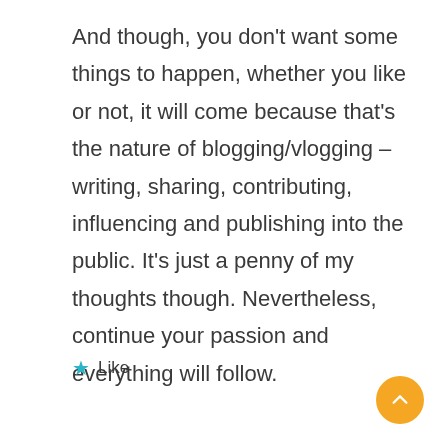And though, you don't want some things to happen, whether you like or not, it will come because that's the nature of blogging/vlogging – writing, sharing, contributing, influencing and publishing into the public. It's just a penny of my thoughts though. Nevertheless, continue your passion and everything will follow.
Like